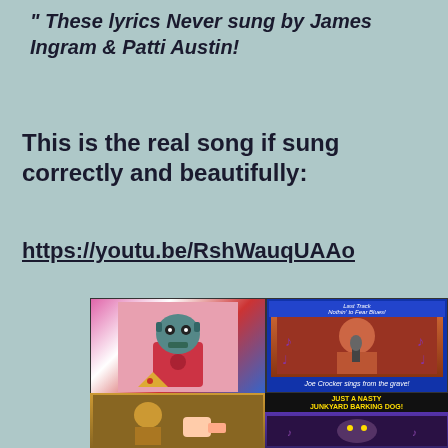" These lyrics Never sung by James Ingram & Patti Austin!
This is the real song if sung correctly and beautifully:
https://youtu.be/RshWauqUAAo
[Figure (photo): Composite image with black background showing: top-left: colorful robot/puppet cartoon figure with pizza and wine bottle; top-right: blue-framed image of Joe Cocker singing with text 'Joe Crocker sings from the grave!' and a blue label at top; bottom-left: golden/brown figure; bottom-right: black panel with yellow text 'JUST A NASTY JUNKYARD BARKING DOG!' and a dark purple creature image below]